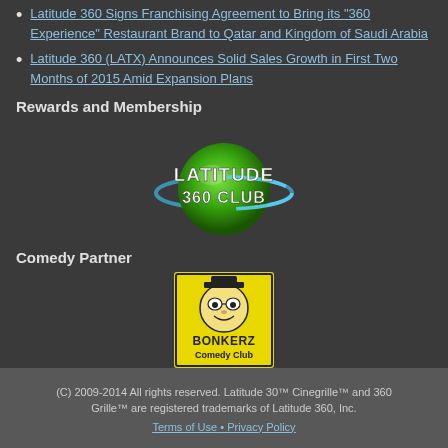Latitude 360 Signs Franchising Agreement to Bring its "360 Experience" Restaurant Brand to Qatar and Kingdom of Saudi Arabia
Latitude 360 (LATX) Announces Solid Sales Growth in First Two Months of 2015 Amid Expansion Plans
Rewards and Membership
[Figure (logo): Latitude 360 Club logo — green globe with orbital ring and white text reading LATITUDE 360 CLUB]
Comedy Partner
[Figure (logo): Bonkerz Comedy Club logo — yellow square with cartoon face and text BONKERZ Comedy Club]
(C) 2009-2014 All rights reserved. Latitude 30™ Cinegrille™ and 360 Grille™ are registered trademarks of Latitude 360, Inc. Terms of Use • Privacy Policy